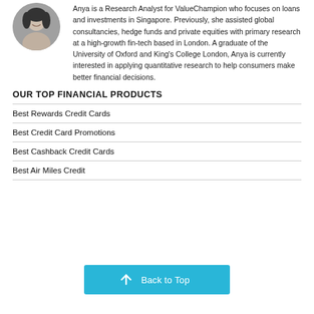[Figure (photo): Circular headshot photo of Anya, a woman with dark hair, smiling]
Anya is a Research Analyst for ValueChampion who focuses on loans and investments in Singapore. Previously, she assisted global consultancies, hedge funds and private equities with primary research at a high-growth fin-tech based in London. A graduate of the University of Oxford and King's College London, Anya is currently interested in applying quantitative research to help consumers make better financial decisions.
OUR TOP FINANCIAL PRODUCTS
Best Rewards Credit Cards
Best Credit Card Promotions
Best Cashback Credit Cards
Best Air Miles Credit